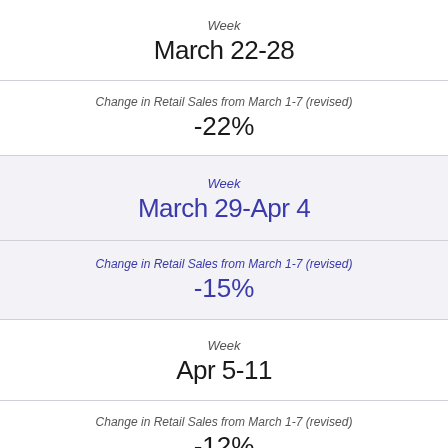Week
March 22-28
Change in Retail Sales from March 1-7 (revised)
-22%
Week
March 29-Apr 4
Change in Retail Sales from March 1-7 (revised)
-15%
Week
Apr 5-11
Change in Retail Sales from March 1-7 (revised)
-12%